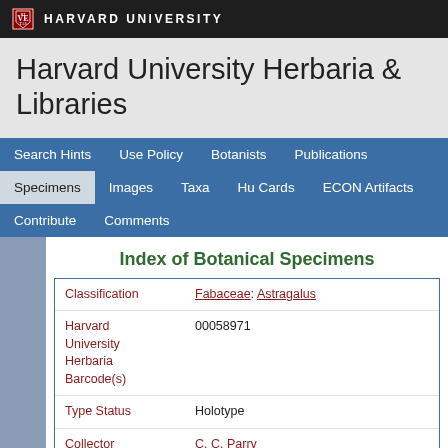HARVARD UNIVERSITY
Harvard University Herbaria & Libraries
Search Hints  Use Policy  Botanists  Publications  Specimens  Images  Taxa  Hu Cards  ECON Artifacts  Contribute  Comments
Index of Botanical Specimens
| Field | Value |
| --- | --- |
| Classification | Fabaceae: Astragalus |
| Harvard University Herbaria Barcode(s) | 00058971 |
| Type Status | Holotype |
| Collector | C. C. Parry |
| Collector number | 2 |
| Country | United States of America |